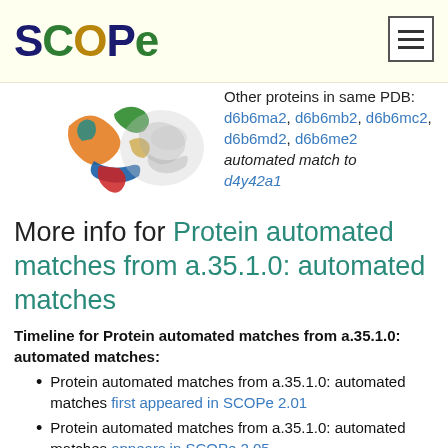SCOPe
[Figure (illustration): 3D protein structure rendering showing colorful ribbons/helices in orange, blue, green, red and a grey transparent structure beside it]
Other proteins in same PDB: d6b6ma2, d6b6mb2, d6b6mc2, d6b6md2, d6b6me2 automated match to d4y42a1
More info for Protein automated matches from a.35.1.0: automated matches
Timeline for Protein automated matches from a.35.1.0: automated matches:
Protein automated matches from a.35.1.0: automated matches first appeared in SCOPe 2.01
Protein automated matches from a.35.1.0: automated matches appears in SCOPe 2.05
Protein automated matches from a.35.1.0: automated matches appears in SCOPe 2.07
Protein automated matches from a.35.1.0: automated